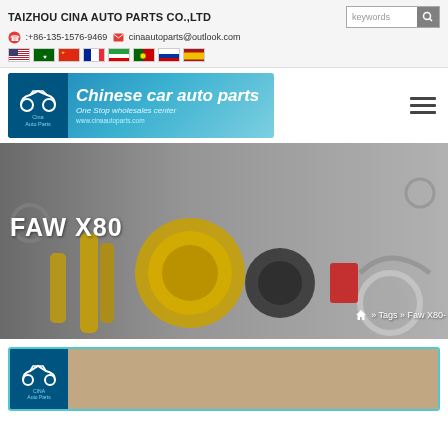TAIZHOU CINA AUTO PARTS CO.,LTD
:+86-135-1576-9469  cinaautoparts@outlook.com
[Figure (illustration): Row of country flag icons: USA, Saudi Arabia, China, France, Iran, Portugal, Russia, Spain]
[Figure (logo): Chinese car auto parts banner logo — blue gradient background with car icon and text 'Chinese car auto parts, One Stop wholesales center, www.cinaautoparts.com']
[Figure (photo): Hero banner image showing auto parts including yellow shock absorbers/fishing reels on a gray background with FAW X80 title text overlay and breadcrumb navigation showing home » Tags » Faw X80]
FAW X80
» Tags » Faw X80-
[Figure (logo): Cina Auto Parts product card with blue border, dark blue logo on left and beige/tan content area on right]